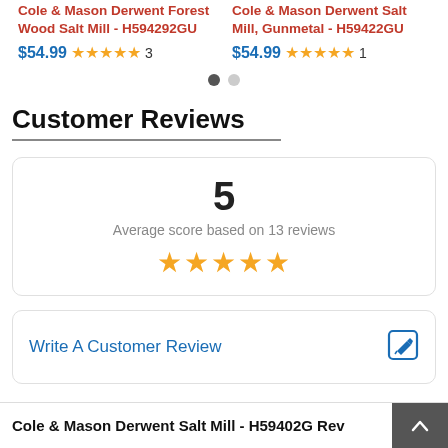Cole & Mason Derwent Forest Wood Salt Mill - H594292GU
$54.99 ★★★★½ 3
Cole & Mason Derwent Salt Mill, Gunmetal - H59422GU
$54.99 ★★★★½ 1
Customer Reviews
5
Average score based on 13 reviews
★★★★★
Write A Customer Review
Cole & Mason Derwent Salt Mill - H59402G Rev...